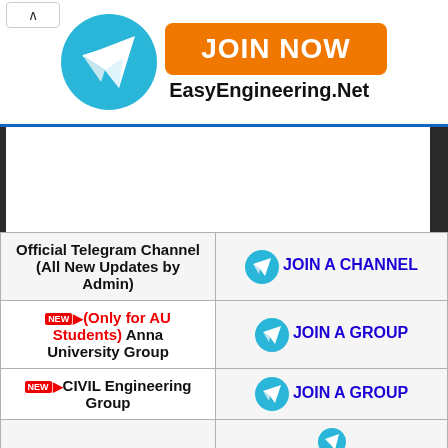[Figure (screenshot): Walgreens Photo advertisement banner: 'Good for the Whole Family / Walgreens Photo' with Walgreens logo and navigation arrow icon]
[Figure (screenshot): EasyEngineering.Net Telegram channel join banner with Telegram logo and orange JOIN NOW button]
| Channel/Group | Join Link |
| --- | --- |
| Official Telegram Channel (All New Updates by Admin) | JOIN A CHANNEL |
| NEW (Only for AU Students) Anna University Group | JOIN A GROUP |
| NEW CIVIL Engineering Group | JOIN A GROUP |